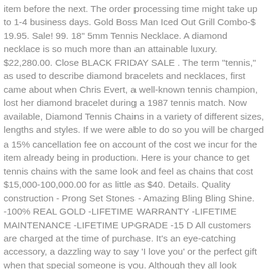item before the next. The order processing time might take up to 1-4 business days. Gold Boss Man Iced Out Grill Combo-$ 19.95. Sale! 99. 18" 5mm Tennis Necklace. A diamond necklace is so much more than an attainable luxury. $22,280.00. Close BLACK FRIDAY SALE . The term "tennis," as used to describe diamond bracelets and necklaces, first came about when Chris Evert, a well-known tennis champion, lost her diamond bracelet during a 1987 tennis match. Now available, Diamond Tennis Chains in a variety of different sizes, lengths and styles. If we were able to do so you will be charged a 15% cancellation fee on account of the cost we incur for the item already being in production. Here is your chance to get tennis chains with the same look and feel as chains that cost $15,000-100,000.00 for as little as $40. Details. Quality construction - Prong Set Stones - Amazing Bling Bling Shine. -100% REAL GOLD -LIFETIME WARRANTY -LIFETIME MAINTENANCE -LIFETIME UPGRADE -15 D All customers are charged at the time of purchase. It’s an eye-catching accessory, a dazzling way to say ‘I love you’ or the perfect gift when that special someone is you. Although they all look similar to real diamond, they are softer, with a Mohs rating of less than 8-8.5. After all these procedures, the tracking number will be provided to you via email. 14mm Diamond Prong Link Chain - White